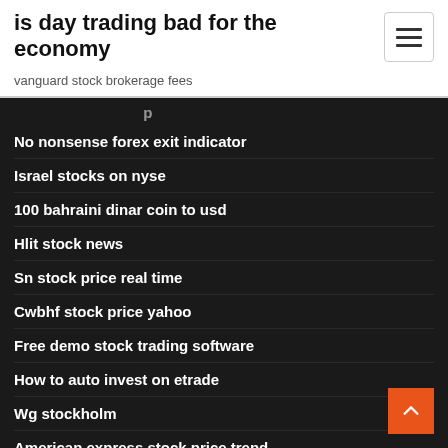is day trading bad for the economy
vanguard stock brokerage fees
No nonsense forex exit indicator
Israel stocks on nyse
100 bahraini dinar coin to usd
Hlit stock news
Sn stock price real time
Cwbhf stock price yahoo
Free demo stock trading software
How to auto invest on etrade
Wg stockholm
American express stock price trend